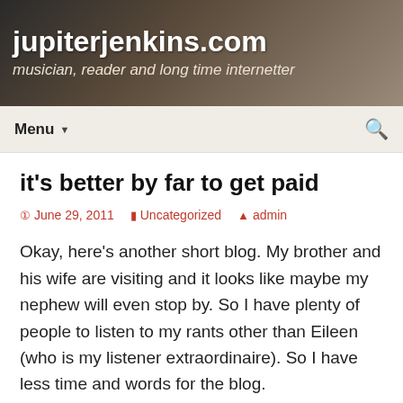jupiterjenkins.com
musician, reader and long time internetter
Menu ▼
it's better by far to get paid
June 29, 2011   Uncategorized   admin
Okay, here's another short blog. My brother and his wife are visiting and it looks like maybe my nephew will even stop by. So I have plenty of people to listen to my rants other than Eileen (who is my listener extraordinaire). So I have less time and words for the blog.